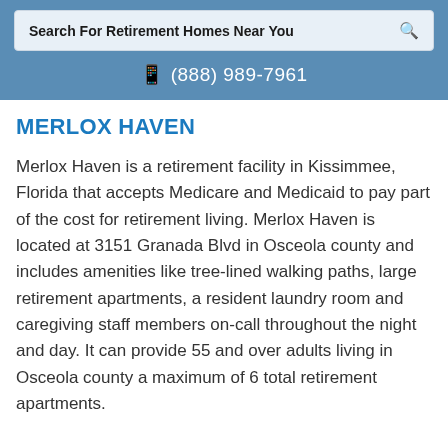Search For Retirement Homes Near You
(888) 989-7961
MERLOX HAVEN
Merlox Haven is a retirement facility in Kissimmee, Florida that accepts Medicare and Medicaid to pay part of the cost for retirement living. Merlox Haven is located at 3151 Granada Blvd in Osceola county and includes amenities like tree-lined walking paths, large retirement apartments, a resident laundry room and caregiving staff members on-call throughout the night and day. It can provide 55 and over adults living in Osceola county a maximum of 6 total retirement apartments.